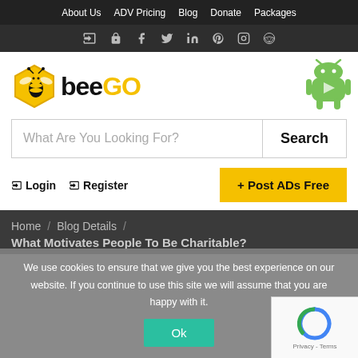About Us  ADV Pricing  Blog  Donate  Packages
[Figure (screenshot): Social media icon bar with login, lock, facebook, twitter, linkedin, pinterest, instagram, reddit icons]
[Figure (logo): BeeGo logo - bee in yellow hexagon with text 'bee' in black and 'GO' in yellow]
What Are You Looking For?
Search
Login  Register  + Post ADs Free
Home  /  Blog Details  /
What Motivates People To Be Charitable?
We use cookies to ensure that we give you the best experience on our website. If you continue to use this site we will assume that you are happy with it.
Ok